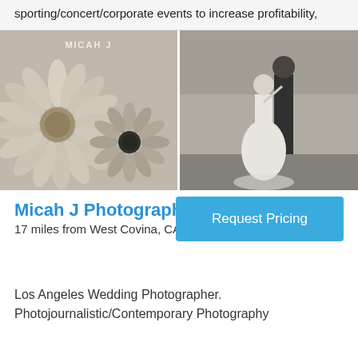sporting/concert/corporate events to increase profitability,
[Figure (photo): Two-panel black and white photo. Left panel shows close-up of daisy/sunflower blossoms with a watermark reading 'MICAH J'. Right panel shows a bride and groom standing together outdoors in black and white.]
Micah J Photography
17 miles from West Covina, CA
Request Pricing
Los Angeles Wedding Photographer. Photojournalistic/Contemporary Photography